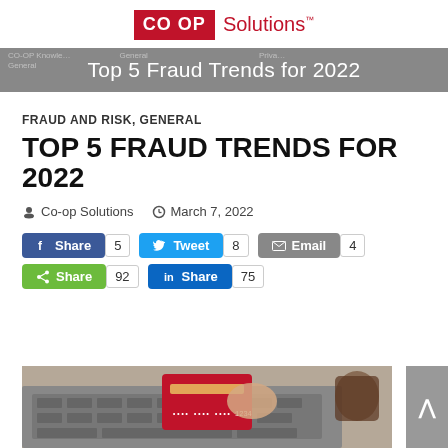[Figure (logo): CO-OP Solutions logo with red background for CO-OP text and red Solutions wordmark]
Top 5 Fraud Trends for 2022
FRAUD AND RISK, GENERAL
TOP 5 FRAUD TRENDS FOR 2022
Co-op Solutions   March 7, 2022
Share 5   Tweet 8   Email 4   Share 92   Share 75
[Figure (photo): Person using laptop and holding a red credit card, with coffee cup in background]